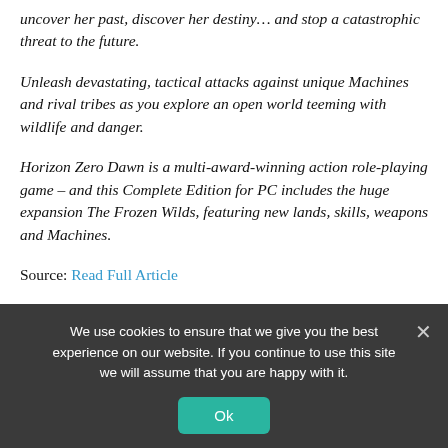uncover her past, discover her destiny… and stop a catastrophic threat to the future.
Unleash devastating, tactical attacks against unique Machines and rival tribes as you explore an open world teeming with wildlife and danger.
Horizon Zero Dawn is a multi-award-winning action role-playing game – and this Complete Edition for PC includes the huge expansion The Frozen Wilds, featuring new lands, skills, weapons and Machines.
Source: Read Full Article
Related posts:
Mass Effect 2: Best Squad Combinations, Ranked
We use cookies to ensure that we give you the best experience on our website. If you continue to use this site we will assume that you are happy with it.